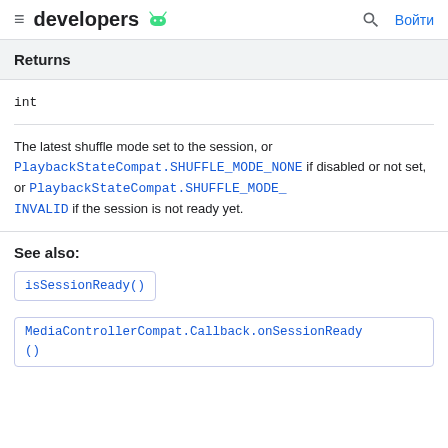developers [android logo] | [search icon] Войти
Returns
int
The latest shuffle mode set to the session, or PlaybackStateCompat.SHUFFLE_MODE_NONE if disabled or not set, or PlaybackStateCompat.SHUFFLE_MODE_INVALID if the session is not ready yet.
See also:
isSessionReady()
MediaControllerCompat.Callback.onSessionReady()